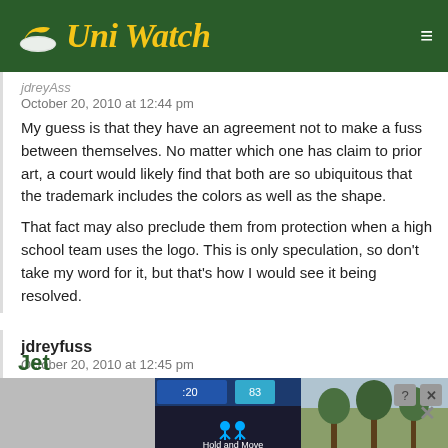Uni Watch
jdreyAss
October 20, 2010 at 12:44 pm
My guess is that they have an agreement not to make a fuss between themselves. No matter which one has claim to prior art, a court would likely find that both are so ubiquitous that the trademark includes the colors as well as the shape.
That fact may also preclude them from protection when a high school team uses the logo. This is only speculation, so don't take my word for it, but that's how I would see it being resolved.
jdreyfuss
October 20, 2010 at 12:45 pm
Between the stripes and the mono-black uniform, Paul's head must be spinning. If those stripes were purple, it'd prob...
Jet